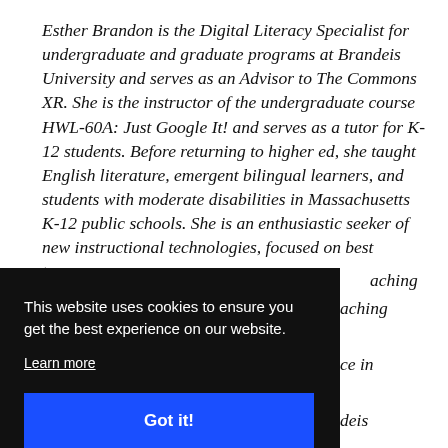Esther Brandon is the Digital Literacy Specialist for undergraduate and graduate programs at Brandeis University and serves as an Advisor to The Commons XR. She is the instructor of the undergraduate course HWL-60A: Just Google It! and serves as a tutor for K-12 students. Before returning to higher ed, she taught English literature, emergent bilingual learners, and students with moderate disabilities in Massachusetts K-12 public schools. She is an enthusiastic seeker of new instructional technologies, focused on best teaching [practices]... [teaching in]... [ce in]... [deis]... [mons XR.]... [The]...
This website uses cookies to ensure you get the best experience on our website. Learn more Got it!